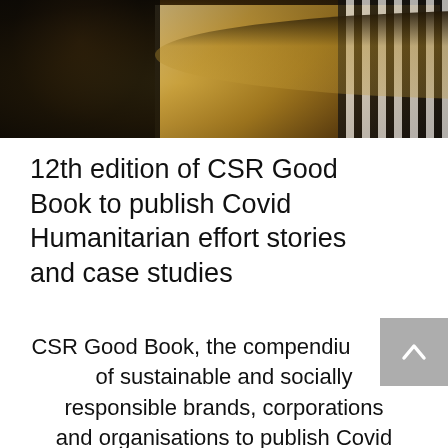[Figure (photo): A photograph of people seated at a round table at what appears to be a formal event or dinner, with bottles and items on the table, warm amber/golden tones, partial view of a striped fabric on the right.]
12th edition of CSR Good Book to publish Covid Humanitarian effort stories and case studies
CSR Good Book, the compendium of sustainable and socially responsible brands, corporations and organisations to publish Covid Humanitarian efforts stories and case studies in its 12th edition